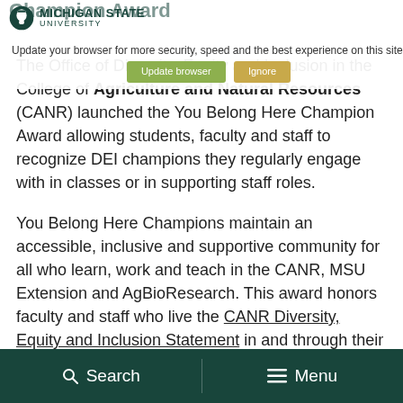Michigan State University
Update your browser for more security, speed and the best experience on this site.
Champion Award
The Office of Diversity, Equity and Inclusion in the College of Agriculture and Natural Resources (CANR) launched the You Belong Here Champion Award allowing students, faculty and staff to recognize DEI champions they regularly engage with in classes or in supporting staff roles.

You Belong Here Champions maintain an accessible, inclusive and supportive community for all who learn, work and teach in the CANR, MSU Extension and AgBioResearch. This award honors faculty and staff who live the CANR Diversity, Equity and Inclusion Statement in and through their work and space.

Faculty and staff nominees are for the 2020-2021
Search   Menu